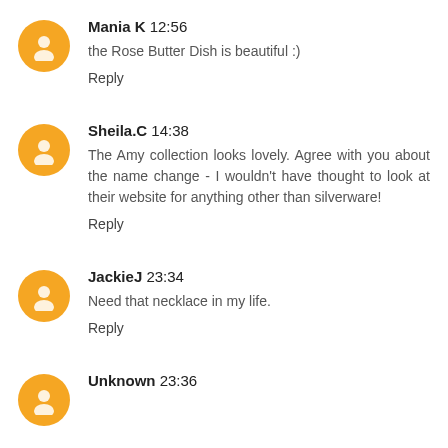Mania K 12:56
the Rose Butter Dish is beautiful :)
Reply
Sheila.C 14:38
The Amy collection looks lovely. Agree with you about the name change - I wouldn't have thought to look at their website for anything other than silverware!
Reply
JackieJ 23:34
Need that necklace in my life.
Reply
Unknown 23:36